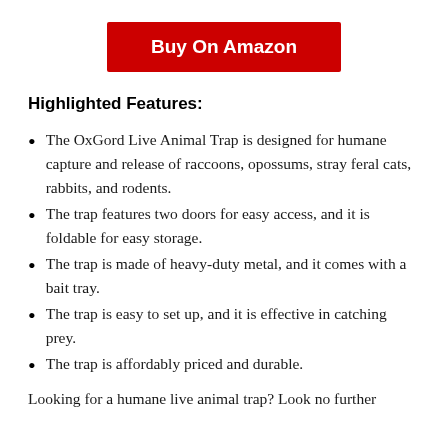[Figure (other): Red 'Buy On Amazon' button]
Highlighted Features:
The OxGord Live Animal Trap is designed for humane capture and release of raccoons, opossums, stray feral cats, rabbits, and rodents.
The trap features two doors for easy access, and it is foldable for easy storage.
The trap is made of heavy-duty metal, and it comes with a bait tray.
The trap is easy to set up, and it is effective in catching prey.
The trap is affordably priced and durable.
Looking for a humane live animal trap? Look no further